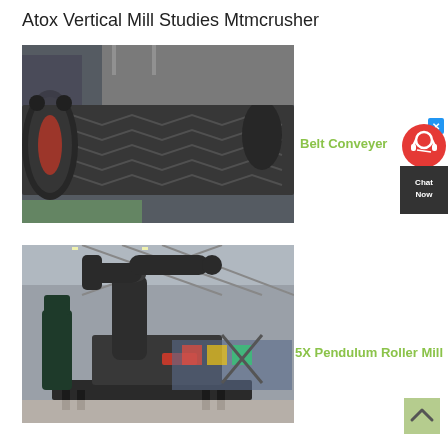Atox Vertical Mill Studies Mtmcrusher
[Figure (photo): Industrial belt conveyer lying on a factory warehouse floor, showing chevron-patterned conveyor belt and rollers]
Belt Conveyer
[Figure (photo): 5X Pendulum Roller Mill industrial grinding machine in a large factory hall with steel structure ceiling]
5X Pendulum Roller Mill
[Figure (other): Chat Now widget with headset icon on red/dark background]
[Figure (other): Green scroll-to-top button with upward arrow]